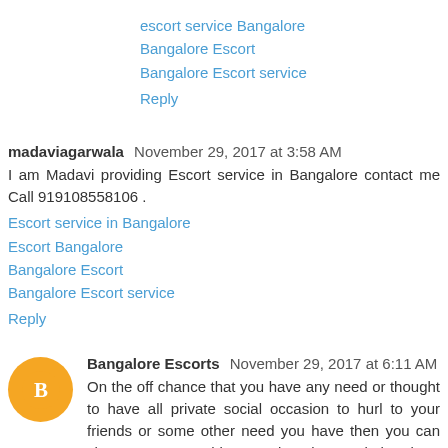escort service Bangalore
Bangalore Escort
Bangalore Escort service
Reply
madaviagarwala  November 29, 2017 at 3:58 AM
I am Madavi providing Escort service in Bangalore contact me Call 919108558106 .
Escort service in Bangalore
Escort Bangalore
Bangalore Escort
Bangalore Escort service
Reply
Bangalore Escorts  November 29, 2017 at 6:11 AM
On the off chance that you have any need or thought to have all private social occasion to hurl to your friends or some other need you have then you can share your everything need and toward the day's end you're